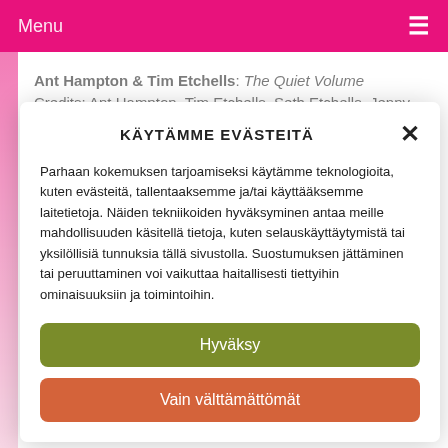Menu ≡
Ant Hampton & Tim Etchells: The Quiet Volume
Credits: Ant Hampton, Tim Etchells, Seth Etchells, Jenny Naden, Katja Timmerberg, TiTo Toblerone
KÄYTÄMME EVÄSTEITÄ
Parhaan kokemuksen tarjoamiseksi käytämme teknologioita, kuten evästeitä, tallentaaksemme ja/tai käyttääksemme laitetietoja. Näiden tekniikoiden hyväksyminen antaa meille mahdollisuuden käsitellä tietoja, kuten selauskäyttäytymistä tai yksilöllisiä tunnuksia tällä sivustolla. Suostumuksen jättäminen tai peruuttaminen voi vaikuttaa haitallisesti tiettyihin ominaisuuksiin ja toimintoihin.
Hyväksy
Vain välttämättömät